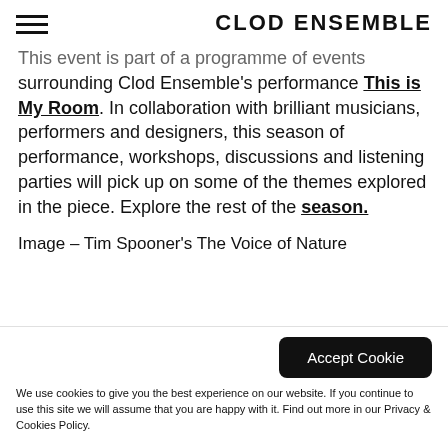CLOD ENSEMBLE
This event is part of a programme of events surrounding Clod Ensemble's performance This is My Room. In collaboration with brilliant musicians, performers and designers, this season of performance, workshops, discussions and listening parties will pick up on some of the themes explored in the piece. Explore the rest of the season.
Image – Tim Spooner's The Voice of Nature
Accept Cookie
We use cookies to give you the best experience on our website. If you continue to use this site we will assume that you are happy with it. Find out more in our Privacy & Cookies Policy.